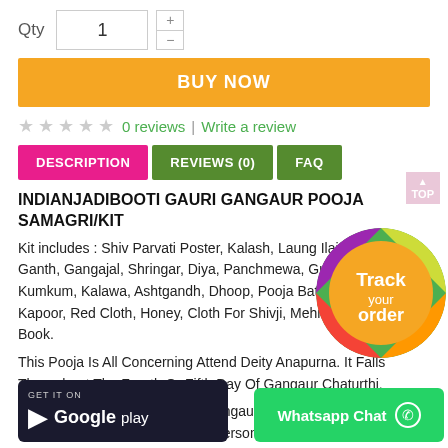Qty  1  +  -
BUY NOW
★★★★★  0 reviews  |  Write a review
DESCRIPTION   REVIEWS (0)   FAQ
INDIANJADIBOOTI GAURI GANGAUR POOJA SAMAGRI/KIT
Kit includes : Shiv Parvati Poster, Kalash, Laung Ilaichi, Haldi Ganth, Gangajal, Shringar, Diya, Panchmewa, Gud, Supari, Kumkum, Kalawa, Ashtgandh, Dhoop, Pooja Batti, Wheat, Rice, Kapoor, Red Cloth, Honey, Cloth For Shivji, Mehndi, Kajal Katha Book.
This Pooja Is All Concerning Attend Deity Anapurna. It Falls Throughout The Fourth Or Fifth Day Of Gangaur Chaturthi.
It's Important For The Ladies. Gangaur Pooja As Much As Sensible Luck Is Given Upon A Personal By Conducting Gauri
[Figure (infographic): Track your order circular badge with rainbow colored stripes (green, yellow, orange, red, pink) and white text 'Track your order']
[Figure (screenshot): Google Play store download banner with dark background and play icon]
[Figure (infographic): Whatsapp Chat green button with WhatsApp icon]